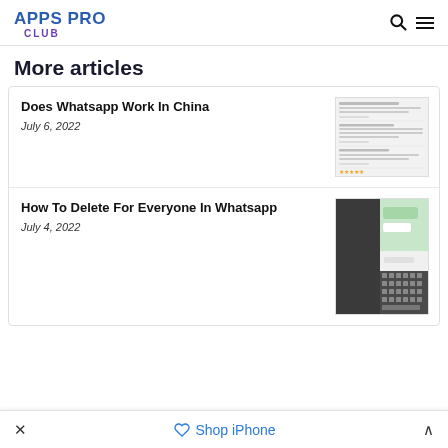APPS PRO CLUB
More articles
Does Whatsapp Work In China
July 6, 2022
[Figure (screenshot): Screenshot of Twitter feed showing comments about WhatsApp in China]
How To Delete For Everyone In Whatsapp
July 4, 2022
[Figure (screenshot): Screenshot of WhatsApp delete message interface with keyboard visible]
× Shop iPhone ∧